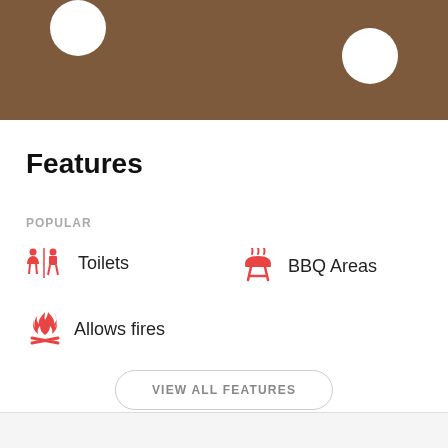[Figure (illustration): Brown header background with two white circles partially visible at top]
Features
POPULAR
Toilets
BBQ Areas
Allows fires
VIEW ALL FEATURES